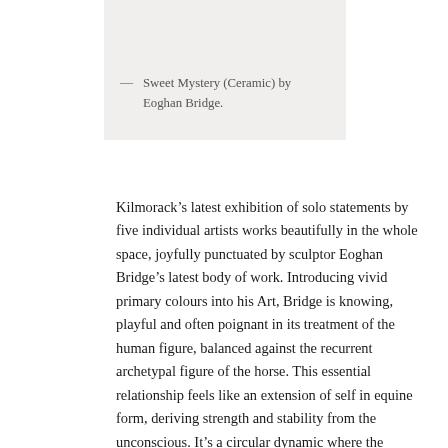[Figure (photo): Top portion of a photograph of a ceramic sculpture by Eoghan Bridge, shown cropped at the top of the page.]
— Sweet Mystery (Ceramic) by Eoghan Bridge.
Kilmorack’s latest exhibition of solo statements by five individual artists works beautifully in the whole space, joyfully punctuated by sculptor Eoghan Bridge’s latest body of work. Introducing vivid primary colours into his Art, Bridge is knowing, playful and often poignant in its treatment of the human figure, balanced against the recurrent archetypal figure of the horse. This essential relationship feels like an extension of self in equine form, deriving strength and stability from the unconscious. It’s a circular dynamic where the powerful stability of the horse and the vulnerability of the human rider are symbolically entwined. Work such as Trojan (Ceramic) cleverly places one figure inside and in relation to another in an abstracted inner love triangle, playing with the Classical myth of the Trojan horse and whole idea of emotional and psychological defences.  Jungian psychology; animus (the feminine inner personality in men) and anima (the